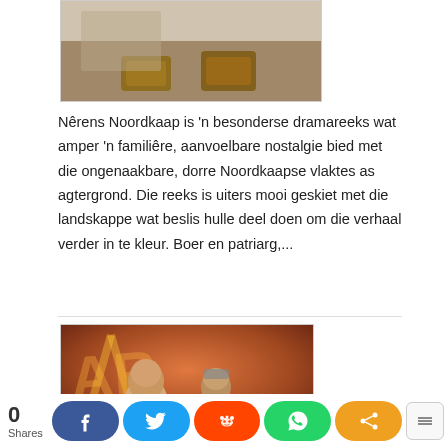[Figure (photo): Partial top image showing feet/shoes on ground, cropped at top of page]
Nêrens Noordkaap is 'n besonderse dramareeks wat amper 'n familiêre, aanvoelbare nostalgie bied met die ongenaakbare, dorre Noordkaapse vlaktes as agtergrond. Die reeks is uiters mooi geskiet met die landskappe wat beslis hulle deel doen om die verhaal verder in te kleur. Boer en patriarg,...
[Figure (photo): Photo of two bald men sitting together in front of an orange/brown decorated wall with graffiti-style artwork]
0 Shares  f  [twitter bird]  [reddit alien]  [whatsapp]  [share]